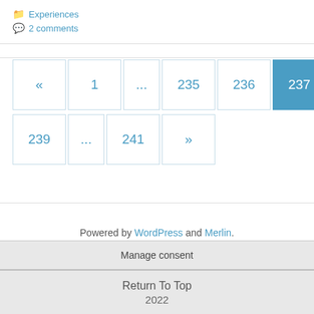📁 Experiences
💬 2 comments
« 1 ... 235 236 237 238 239 ... 241 »
Powered by WordPress and Merlin.
Manage consent
Return To Top
2022